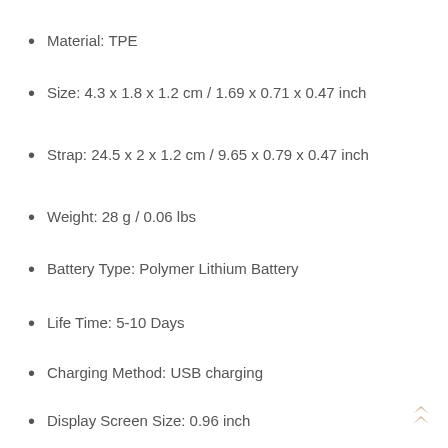Material: TPE
Size: 4.3 x 1.8 x 1.2 cm / 1.69 x 0.71 x 0.47 inch
Strap: 24.5 x 2 x 1.2 cm / 9.65 x 0.79 x 0.47 inch
Weight: 28 g / 0.06 lbs
Battery Type: Polymer Lithium Battery
Life Time: 5-10 Days
Charging Method: USB charging
Display Screen Size: 0.96 inch
Screen Type: OLED